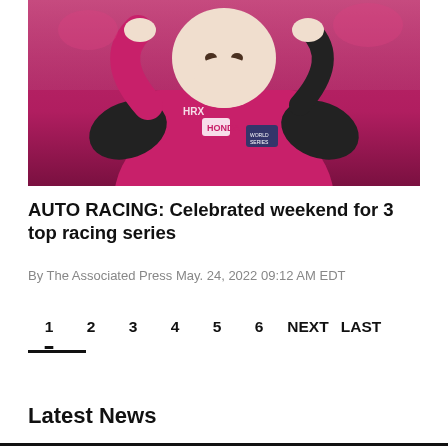[Figure (photo): A racing driver in a bright pink/magenta Honda HRX racing suit adjusting their helmet or balaclava, with a crowd visible in the blurred background.]
AUTO RACING: Celebrated weekend for 3 top racing series
By The Associated Press May. 24, 2022 09:12 AM EDT
1  2  3  4  5  6  NEXT  LAST
Latest News